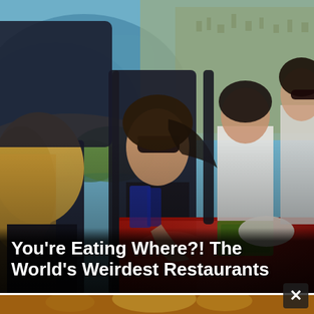[Figure (photo): Aerial photograph of people dining at a table suspended high in the sky, with coastline and city visible far below. A woman with sunglasses sits at a red-tablecloth table with food and plates. Others sit around the table strapped in harnesses.]
You're Eating Where?! The World's Weirdest Restaurants
[Figure (photo): Blurred/bokeh interior shot of a golden-lit restaurant or club with ornate chandeliers and warm amber lighting. A close button (X) appears at the bottom right corner, suggesting this is an advertisement or overlay panel.]